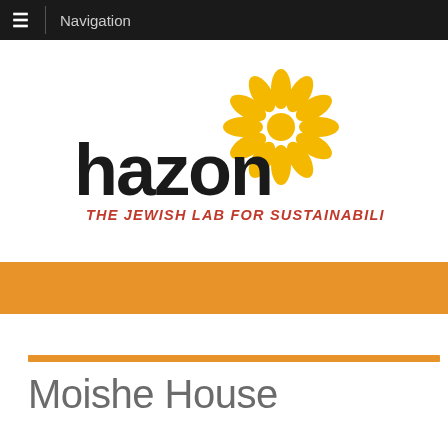Navigation
[Figure (logo): Hazon logo — bold black 'hazon' wordmark with a golden sunflower/daisy graphic above the 'on', and red italic text 'THE JEWISH LAB FOR SUSTAINABILITY' below]
Moishe House